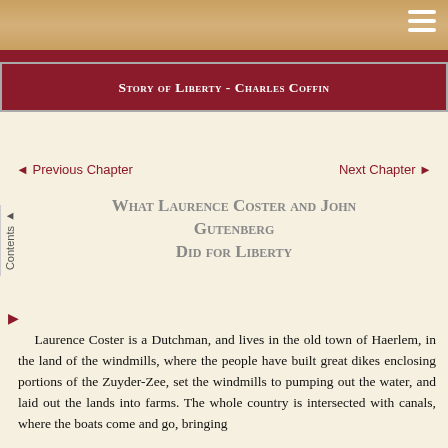[Figure (photo): Decorative header image bar with tan/gold and dark red color scheme, with hamburger menu icon in top right]
Story of Liberty - Charles Coffin
◄ Previous Chapter | Next Chapter ►
What Laurence Coster and John Gutenberg Did for Liberty
Laurence Coster is a Dutchman, and lives in the old town of Haerlem, in the land of the windmills, where the people have built great dikes enclosing portions of the Zuyder-Zee, set the windmills to pumping out the water, and laid out the lands into farms. The whole country is intersected with canals, where the boats come and go, bringing